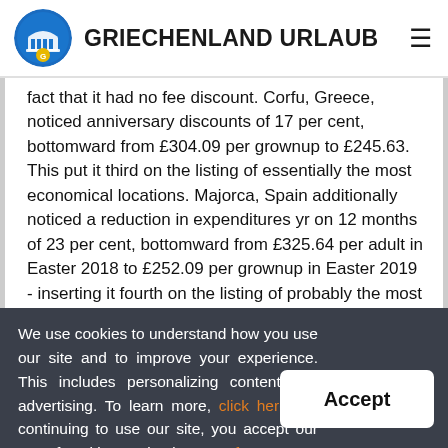GRIECHENLAND URLAUB
fact that it had no fee discount. Corfu, Greece, noticed anniversary discounts of 17 per cent, bottomward from £304.09 per grownup to £245.63. This put it third on the listing of essentially the most economical locations. Majorca, Spain additionally noticed a reduction in expenditures yr on 12 months of 23 per cent, bottomward from £325.64 per adult in Easter 2018 to £252.09 per grownup in Easter 2019 - inserting it fourth on the listing of probably the most within your budget destinations. here is funds'S 5 OF THE optimal break funds offers.
We use cookies to understand how you use our site and to improve your experience. This includes personalizing content and advertising. To learn more, click here. By continuing to use our site, you accept our use of cookies, revised Terms of Use.